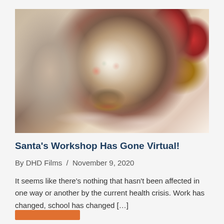[Figure (photo): A Christmas snow globe containing a Santa Claus figure surrounded by snow, with a red bow and decorative base, set against a blurred background with red and gold holiday decorations.]
Santa's Workshop Has Gone Virtual!
By DHD Films / November 9, 2020
It seems like there's nothing that hasn't been affected in one way or another by the current health crisis. Work has changed, school has changed [...]